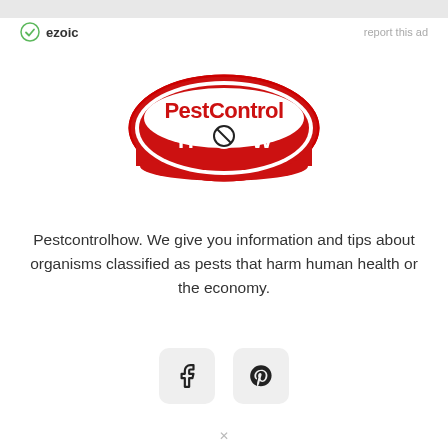[Figure (logo): Ezoic logo with green checkmark icon and bold text 'ezoic', alongside 'report this ad' link in gray]
[Figure (logo): PestControl HOW oval logo in red and white with a crossed-circle bug icon replacing the letter O in HOW]
Pestcontrolhow. We give you information and tips about organisms classified as pests that harm human health or the economy.
[Figure (other): Two social media icon buttons: Facebook (f icon) and Pinterest (P icon), styled as rounded square buttons on a light gray background]